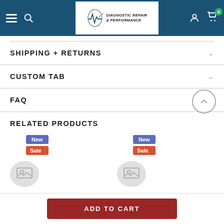Diagnostic Repair & Performance — Navigation header with logo, hamburger menu, search, user and cart icons
SHIPPING + RETURNS
CUSTOM TAB
FAQ
RELATED PRODUCTS
[Figure (screenshot): Two product cards with New and Sale badges and placeholder product images]
ADD TO CART